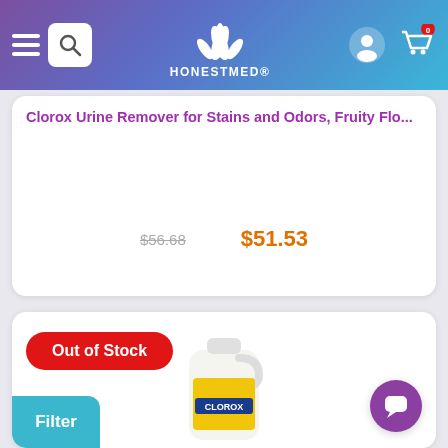HONESTMED®
Clorox Urine Remover for Stains and Odors, Fruity Flo...
$56.68 $51.53
[Figure (screenshot): Out of Stock badge in red with white text]
[Figure (photo): Clorox bleach gallon jug product image]
Filter